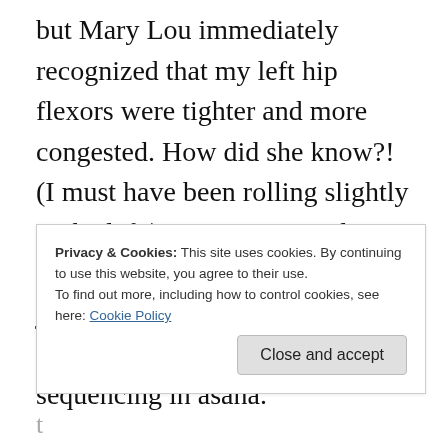but Mary Lou immediately recognized that my left hip flexors were tighter and more congested. How did she know?! (I must have been rolling slightly to the left.) I was impressed. Over time I realized that this was just a hint of Mary Lou's knowledge of alignment and sequencing in asana.
Often, I didn't grasp the full extent of a
Privacy & Cookies: This site uses cookies. By continuing to use this website, you agree to their use. To find out more, including how to control cookies, see here: Cookie Policy
Close and accept
and leading and his and into where and b